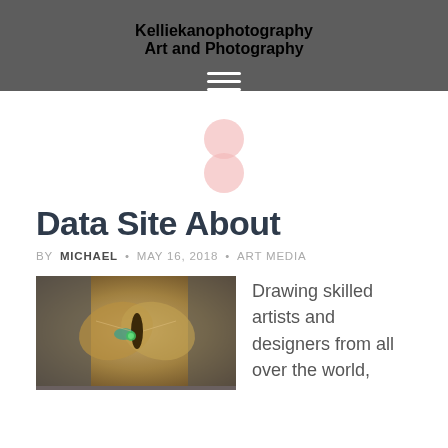Kelliekanophotography
Art and Photography
[Figure (logo): Stylized figure-8 or double-circle logo icon in light pink/rose color]
Data Site About
BY MICHAEL · MAY 16, 2018 · ART MEDIA
[Figure (photo): Artwork/photograph showing an intricate steampunk-style butterfly with mechanical elements and green jewel accents on a vintage map background]
Drawing skilled artists and designers from all over the world,